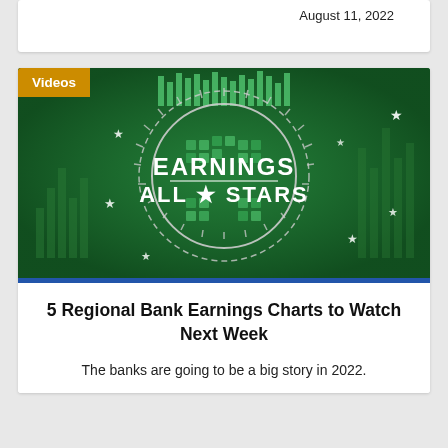August 11, 2022
[Figure (illustration): Earnings All-Stars video thumbnail — dark green background with a circular badge reading EARNINGS ALL★STARS in white text, surrounded by stars and bar chart graphics. A gold 'Videos' label overlays the top-left corner.]
5 Regional Bank Earnings Charts to Watch Next Week
The banks are going to be a big story in 2022.